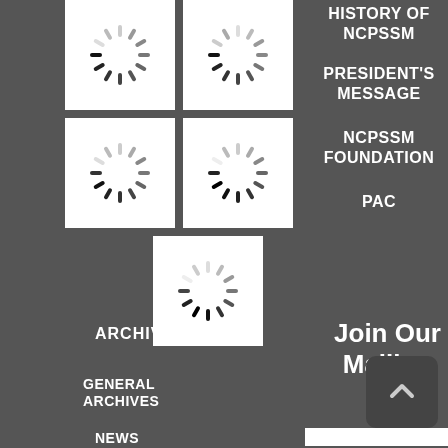[Figure (screenshot): Website navigation menu screenshot showing spinner/loading icons and navigation items for NCPSSM organization]
HISTORY OF NCPSSM
PRESIDENT'S MESSAGE
NCPSSM FOUNDATION
PAC
ARCHIVES
GENERAL ARCHIVES
NEWS ARCHIVES
Join Our Mailing List